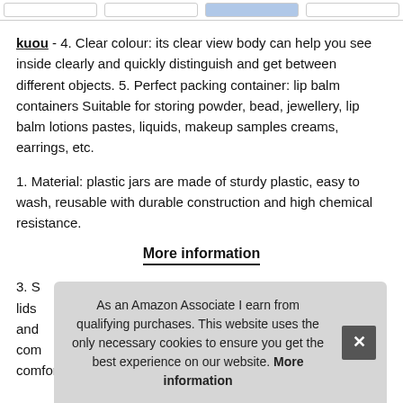kuou - 4. Clear colour: its clear view body can help you see inside clearly and quickly distinguish and get between different objects. 5. Perfect packing container: lip balm containers Suitable for storing powder, bead, jewellery, lip balm lotions pastes, liquids, makeup samples creams, earrings, etc.
1. Material: plastic jars are made of sturdy plastic, easy to wash, reusable with durable construction and high chemical resistance.
More information
3. S lids and com comfortable for you to carry with to everywhere freely.
As an Amazon Associate I earn from qualifying purchases. This website uses the only necessary cookies to ensure you get the best experience on our website. More information